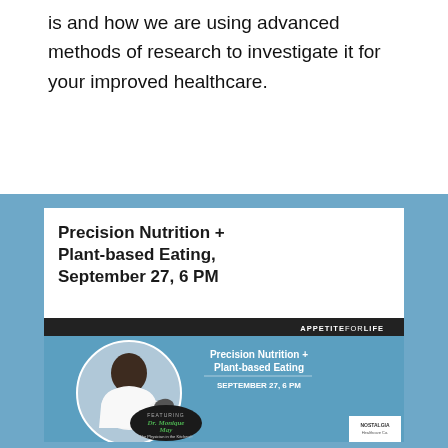is and how we are using advanced methods of research to investigate it for your improved healthcare.
Precision Nutrition + Plant-based Eating, September 27, 6 PM
[Figure (photo): Event promotional poster for 'Precision Nutrition + Plant-based Eating, September 27, 6 PM' featuring Dr. Monique May (The Physician in the Kitchen), APPETITEFORLIFE branding, and Nostalgia Healthcare Co. logo. Shows a woman in a white coat holding a frying pan.]